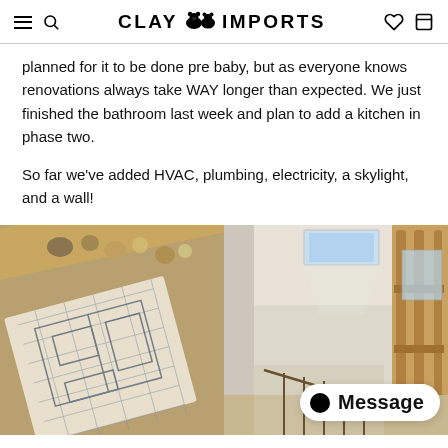CLAY IMPORTS
planned for it to be done pre baby, but as everyone knows renovations always take WAY longer than expected. We just finished the bathroom last week and plan to add a kitchen in phase two.
So far we've added HVAC, plumbing, electricity, a skylight, and a wall!
[Figure (photo): Left photo: architectural blueprint/floor plan drawing on paper laid on a wooden tray with decorative shells and natural objects, warm brown background.]
[Figure (photo): Right photo: interior of a room under renovation with white walls, a skylight in the ceiling, wooden framing visible on the right, and stairs with metal railing in the foreground. Message chat button overlay at bottom right.]